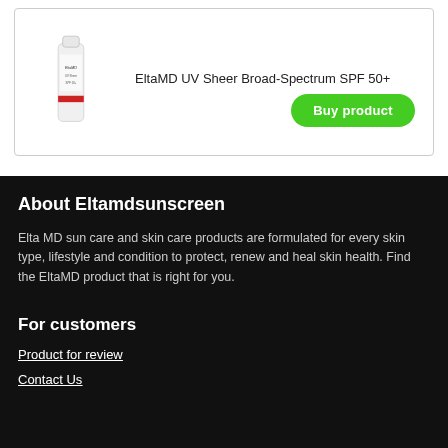EltaMD UV Sheer Broad-Spectrum SPF 50+
[Figure (photo): EltaMD sunscreen product bottle - white tube with red stripe]
Buy product
About Eltamdsunscreen
Elta MD sun care and skin care products are formulated for every skin type, lifestyle and condition to protect, renew and heal skin health. Find the EltaMD product that is right for you.
For customers
Product for review
Contact Us